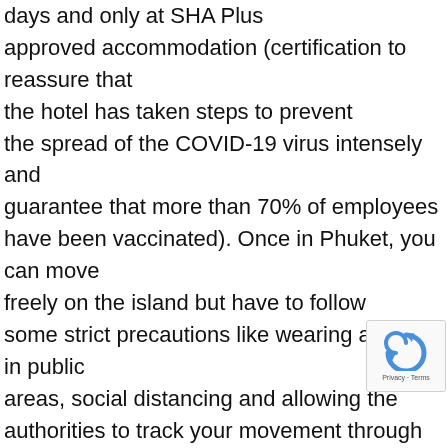days and only at SHA Plus approved accommodation (certification to reassure that the hotel has taken steps to prevent the spread of the COVID-19 virus intensely and guarantee that more than 70% of employees have been vaccinated). Once in Phuket, you can move freely on the island but have to follow some strict precautions like wearing a mask in public areas, social distancing and allowing the authorities to track your movement through an app. In addition to these measures, travelers will have to undergo three Covid-19 tests which be prepaid before arrival. The first test is taken on arrival, second test on day 6 or 7 and third test
[Figure (logo): reCAPTCHA badge with Privacy - Terms text]